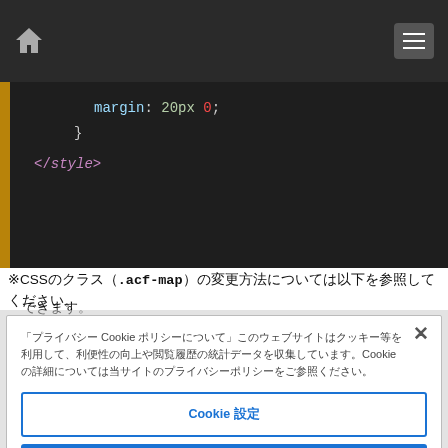[Figure (screenshot): Dark-themed code editor showing CSS code with margin property and closing style tag]
※CSSのクラス（.acf-map）の変更方法については以下を参照してください。
「プライバシー Cookie ポリシーについて」このウェブサイトはクッキー等を利用して、利便性の向上や閲覧履歴の統計データを収集しています。Cookie の詳細については当サイトのプライバシーポリシーをご参照ください。
Cookie 設定
すべて同意する
必須 Cookie のみ同意する